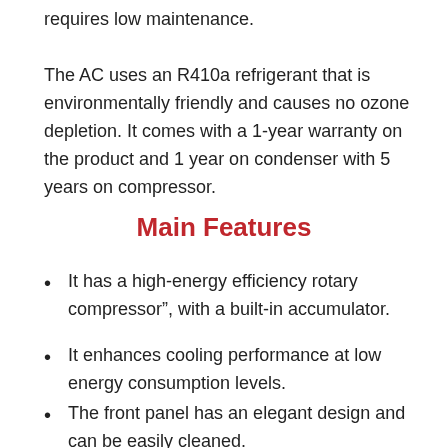requires low maintenance.
The AC uses an R410a refrigerant that is environmentally friendly and causes no ozone depletion. It comes with a 1-year warranty on the product and 1 year on condenser with 5 years on compressor.
Main Features
It has a high-energy efficiency rotary compressor", with a built-in accumulator.
It enhances cooling performance at low energy consumption levels.
The front panel has an elegant design and can be easily cleaned.